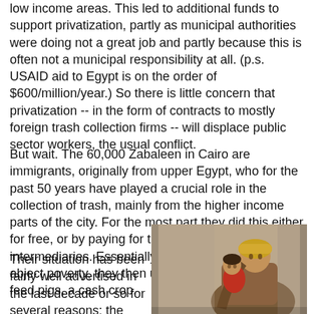low income areas. This led to additional funds to support privatization, partly as municipal authorities were doing not a great job and partly because this is often not a municipal responsibility at all. (p.s. USAID aid to Egypt is on the order of $600/million/year.) So there is little concern that privatization -- in the form of contracts to mostly foreign trash collection firms -- will displace public sector workers, the usual conflict.
But wait. The 60,000 Zabaleen in Cairo are immigrants, originally from upper Egypt, who for the past 50 years have played a crucial role in the collection of trash, mainly from the higher income parts of the city. For the most part they did this either for free, or by paying for the privilege to intermediaries. Essentially scavengers, driven by abject poverty, they then used the organic refuse to feed pigs, a cash crop.
Their situation has been fairly well advertised in the last decade or so for several reasons: the
[Figure (photo): A man in traditional Middle Eastern clothing holding a young child, both looking downward, in an outdoor setting with muted tones.]